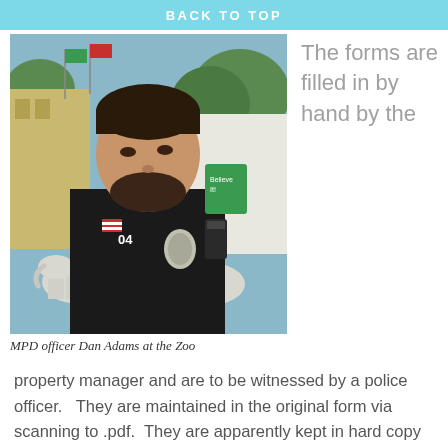BACK TO TOP
[Figure (photo): MPD police officer Dan Adams standing outdoors at the Memphis Zoo, wearing a black uniform with badge and radio, white elephant sculptures and a yellow building visible in the background.]
MPD officer Dan Adams at the Zoo
The forms are filled in by hand by the
property manager and are to be witnessed by a police officer.   They are maintained in the original form via scanning to .pdf.   They are apparently kept in hard copy folders by ward which are carried in police cars.   Many of the forms have a three digit ward number written near